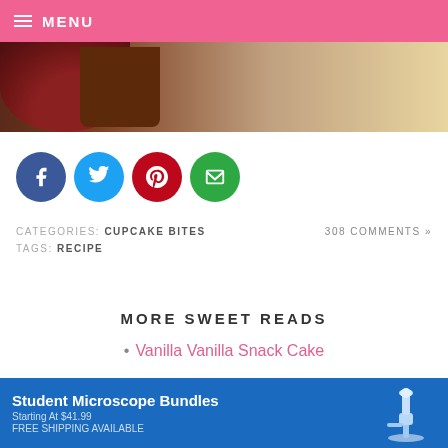MENU
[Figure (photo): Chocolate cupcakes with red frosting on a light background]
[Figure (infographic): Social sharing icons: Facebook (blue), Twitter (cyan), Pinterest (red), Email (green)]
CATEGORIES: CUPCAKE BITES    308 COMMENTS »
TAGS: RECIPE
MORE SWEET READS
Vanilla Vanilla Snack Cake
Milk Chocolate Chip Truffle Cookies
[Figure (screenshot): Advertisement banner: Student Microscope Bundles, Starting At $41.99, FREE SHIPPING AVAILABLE]